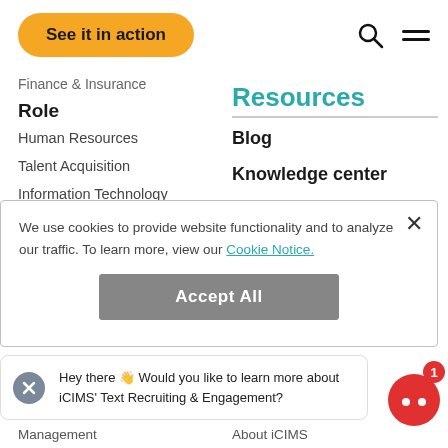See it in action
Finance & Insurance
Role
Human Resources
Talent Acquisition
Information Technology
Resources
Blog
Knowledge center
We use cookies to provide website functionality and to analyze our traffic. To learn more, view our Cookie Notice.
Accept All
Hey there 👋 Would you like to learn more about iCIMS' Text Recruiting & Engagement?
Management
About iCIMS